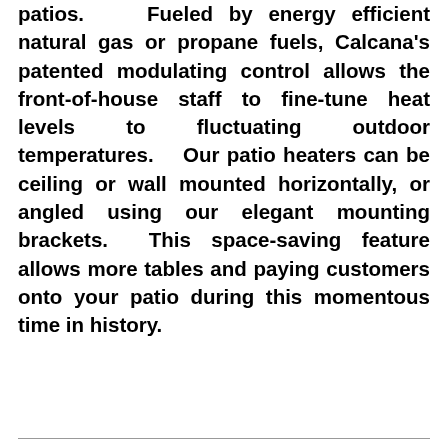patios. Fueled by energy efficient natural gas or propane fuels, Calcana's patented modulating control allows the front-of-house staff to fine-tune heat levels to fluctuating outdoor temperatures. Our patio heaters can be ceiling or wall mounted horizontally, or angled using our elegant mounting brackets. This space-saving feature allows more tables and paying customers onto your patio during this momentous time in history.